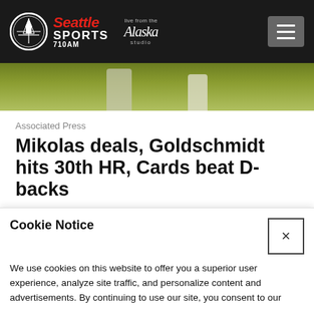[Figure (logo): Seattle Sports 710AM logo with Alaska Airlines 'Live from the studio' branding and hamburger menu button on dark header]
[Figure (photo): Partial sports photo strip showing baseball player, cropped at top]
Associated Press
Mikolas deals, Goldschmidt hits 30th HR, Cards beat D-backs
1 day ago
[Figure (photo): Partial sports photo strip showing baseball player with helmet, cropped]
Cookie Notice
We use cookies on this website to offer you a superior user experience, analyze site traffic, and personalize content and advertisements. By continuing to use our site, you consent to our